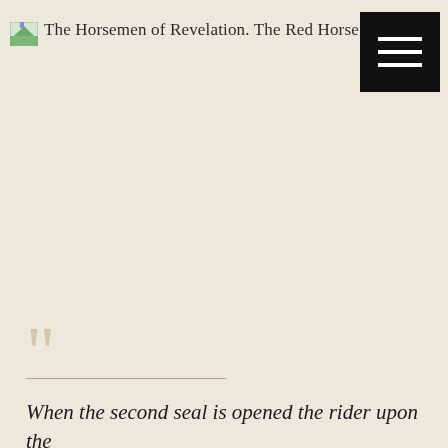The Horsemen of Revelation. The Red Horse
““
When the second seal is opened the rider upon the